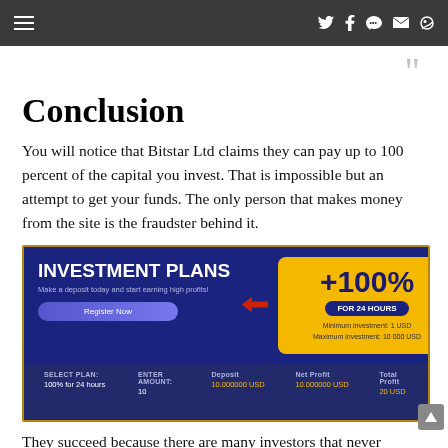navigation bar with menu and social icons
Conclusion
You will notice that Bitstar Ltd claims they can pay up to 100 percent of the capital you invest. That is impossible but an attempt to get your funds. The only person that makes money from the site is the fraudster behind it.
[Figure (screenshot): Screenshot of Bitstar Ltd investment plans page showing '+100% FOR 24 HOURS' offer with yellow highlighted box, red arrows pointing to it, Register Now button, and a calculator section showing SELECT PLAN: 100% for 24 hours, ENTER AMOUNT: 10, Deposit: 10.000000 USD, Net Profit: 10.000000 USD, Total Profit: 20 USD]
They succeed because there are many investors that never